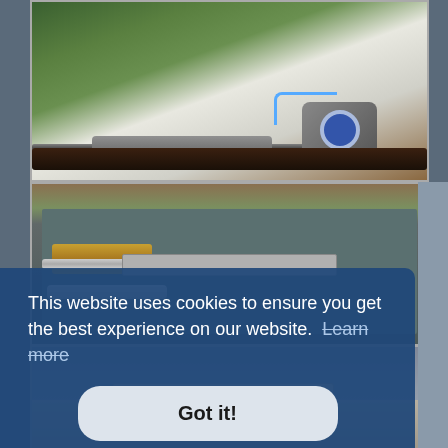[Figure (photo): Close-up photograph of a rifle or airgun with a gray electronic device attached, featuring a blue circular target/lens, placed on a white surface outdoors with green foliage in background]
[Figure (photo): Photograph of a mechanical assembly with brass fittings, metal rails, a hose/tube, and other components laid out on a gray surface/board on a wooden workbench]
[Figure (photo): Partial photograph showing the bottom portion of what appears to be equipment on a table, partially obscured by cookie consent banner]
This website uses cookies to ensure you get the best experience on our website. Learn more
Got it!